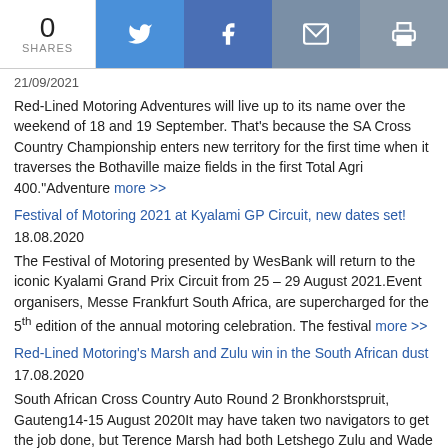0 SHARES [Twitter] [Facebook] [Email] [Print]
Red-Lined Motoring Adventures will live up to its name over the weekend of 18 and 19 September. That's because the SA Cross Country Championship enters new territory for the first time when it traverses the Bothaville maize fields in the first Total Agri 400."Adventure more >>
Festival of Motoring 2021 at Kyalami GP Circuit, new dates set!
18.08.2020
The Festival of Motoring presented by WesBank will return to the iconic Kyalami Grand Prix Circuit from 25 – 29 August 2021.Event organisers, Messe Frankfurt South Africa, are supercharged for the 5th edition of the annual motoring celebration. The festival more >>
Red-Lined Motoring's Marsh and Zulu win in the South African dust
17.08.2020
South African Cross Country Auto Round 2 Bronkhorstspruit, Gauteng14-15 August 2020It may have taken two navigators to get the job done, but Terence Marsh had both Letshego Zulu and Wade Harris at his side as he steered his Red-Lined M more >>
Oettinger Polo Cup back on track at Zwartkops Raceway
11.08.2020
SA's most successful series resumed after five month break. Zwartkops Raceway played host to safe and